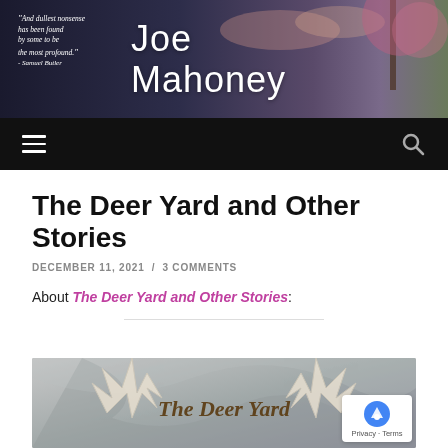Joe Mahoney — blog header with quote: "And dullest nonsense has been found by some to be the most profound." – Samuel Butler
The Deer Yard and Other Stories
DECEMBER 11, 2021 / 3 COMMENTS
About The Deer Yard and Other Stories:
[Figure (photo): Book cover for The Deer Yard and Other Stories showing antlers and stylized text on a textured background]